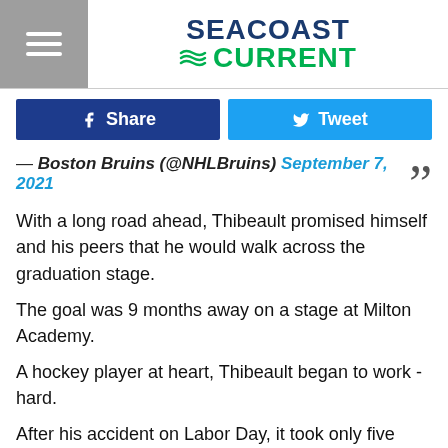Seacoast Current
Share  Tweet
— Boston Bruins (@NHLBruins) September 7, 2021
With a long road ahead, Thibeault promised himself and his peers that he would walk across the graduation stage.
The goal was 9 months away on a stage at Milton Academy.
A hockey player at heart, Thibeault began to work - hard.
After his accident on Labor Day, it took only five months for Thibeault to begin crawling and pushing himself through grueling hours of physical therapy.
[They... it like [She told him himself" Thibeault right...